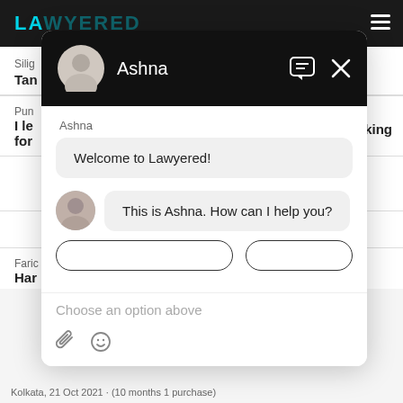LAWYERED
Silig
Tan
Pun
I le
for
king
[Figure (screenshot): Chat widget overlay showing Ashna from Lawyered with messages: 'Welcome to Lawyered!' and 'This is Ashna. How can I help you?' with input area saying 'Choose an option above']
Faric
Har
Kolkata, 21 Oct 2021 · (10 months 1 purchase)